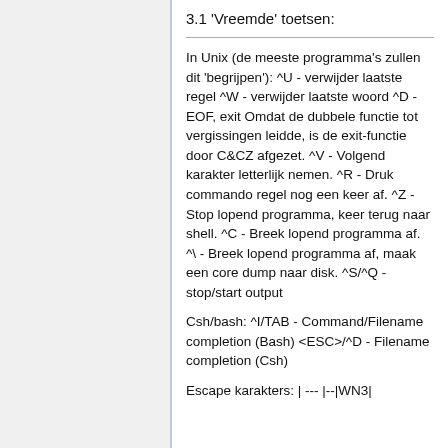3.1 'Vreemde' toetsen:
In Unix (de meeste programma's zullen dit 'begrijpen'): ^U - verwijder laatste regel ^W - verwijder laatste woord ^D - EOF, exit Omdat de dubbele functie tot vergissingen leidde, is de exit-functie door C&CZ afgezet. ^V - Volgend karakter letterlijk nemen. ^R - Druk commando regel nog een keer af. ^Z - Stop lopend programma, keer terug naar shell. ^C - Breek lopend programma af. ^\ - Breek lopend programma af, maak een core dump naar disk. ^S/^Q - stop/start output
Csh/bash: ^I/TAB - Command/Filename completion (Bash) <ESC>/^D - Filename completion (Csh)
Escape karakters: | --- |--|WN3|